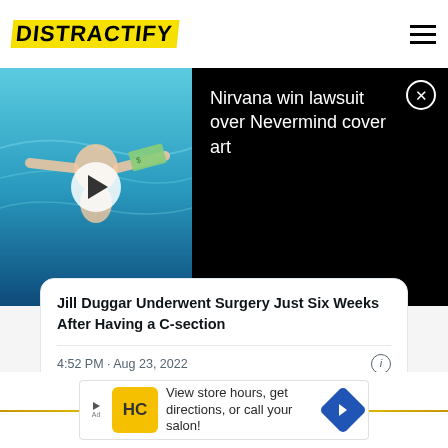DISTRACTIFY
[Figure (screenshot): Video thumbnail of Nirvana Nevermind cover art with baby underwater, with play button overlay. Video title reads: Nirvana win lawsuit over Nevermind cover art]
Jill Duggar Underwent Surgery Just Six Weeks After Having a C-section
4:52 PM · Aug 23, 2022
♡ 1   Reply   Copy link
Read 4 replies
[Figure (infographic): Advertisement banner: View store hours, get directions, or call your salon!]